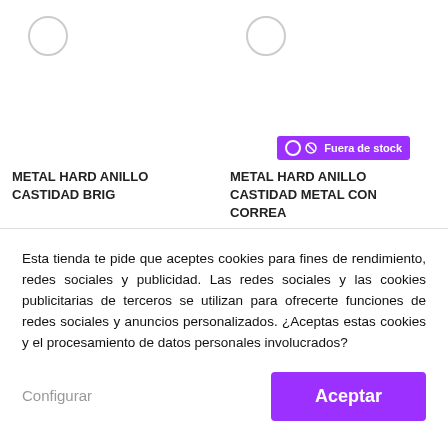[Figure (other): Product image placeholder for METAL HARD ANILLO CASTIDAD BRIG with circular icon]
METAL HARD ANILLO CASTIDAD BRIG
[Figure (other): Product image placeholder for METAL HARD ANILLO CASTIDAD METAL CON CORREA with circular icon and Fuera de stock badge]
METAL HARD ANILLO CASTIDAD METAL CON CORREA
Esta tienda te pide que aceptes cookies para fines de rendimiento, redes sociales y publicidad. Las redes sociales y las cookies publicitarias de terceros se utilizan para ofrecerte funciones de redes sociales y anuncios personalizados. ¿Aceptas estas cookies y el procesamiento de datos personales involucrados?
Configurar
Aceptar